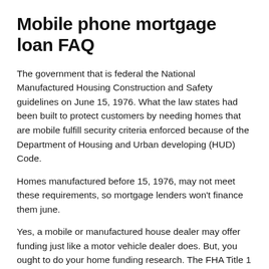Mobile phone mortgage loan FAQ
The government that is federal the National Manufactured Housing Construction and Safety guidelines on June 15, 1976. What the law states had been built to protect customers by needing homes that are mobile fulfill security criteria enforced because of the Department of Housing and Urban developing (HUD) Code.
Homes manufactured before 15, 1976, may not meet these requirements, so mortgage lenders won't finance them june.
Yes, a mobile or manufactured house dealer may offer funding just like a motor vehicle dealer does. But, you ought to do your home funding research. The FHA Title 1 system could possibly offer reduced monthly obligations through a reduced rate of interest and/or a lengthier loan term.